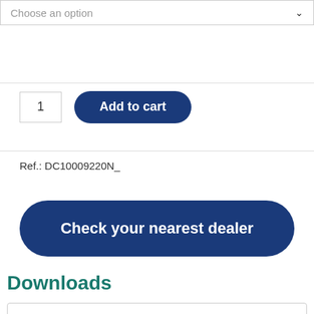Choose an option
1
Add to cart
Ref.: DC10009220N_
Check your nearest dealer
Downloads
EU Declaration of Conformity welding blanket